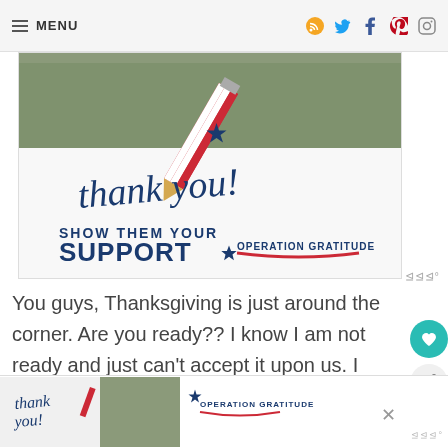MENU
[Figure (photo): Operation Gratitude 'Thank you! Show Them Your Support' advertisement banner with soldiers and pencil graphic]
You guys, Thanksgiving is just around the corner. Are you ready?? I know I am not ready and just can't accept it upon us. I hope you are handling it better than me but I am here to help you with a brand new recipe for your Thanksgiving table. This swirled pumpkin cheesecake is
[Figure (photo): Operation Gratitude bottom advertisement banner (partial)]